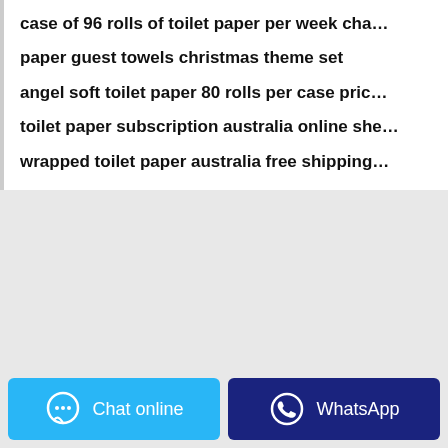case of 96 rolls of toilet paper per week cha…
paper guest towels christmas theme set
angel soft toilet paper 80 rolls per case pric…
toilet paper subscription australia online sh…
wrapped toilet paper australia free shipping…
Chat online | WhatsApp